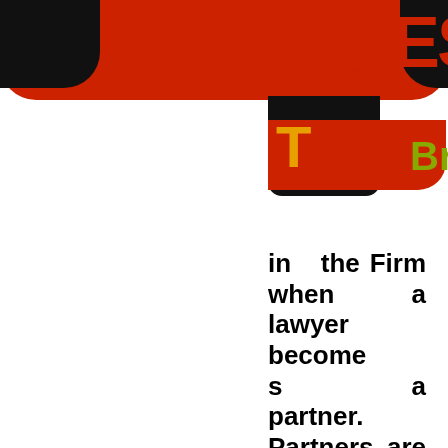POLICIES
in the Firm when a lawyer becomes a partner. Partners are expected to plan vacations based on their professional onal